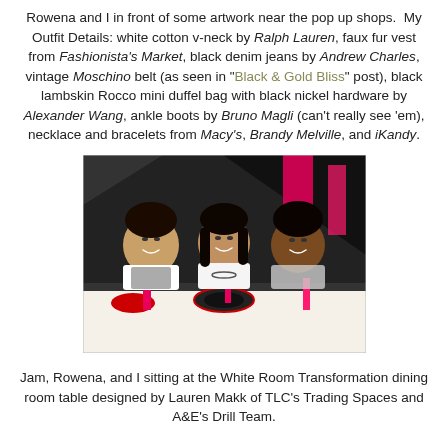Rowena and I in front of some artwork near the pop up shops.  My Outfit Details: white cotton v-neck by Ralph Lauren, faux fur vest from Fashionista's Market, black denim jeans by Andrew Charles, vintage Moschino belt (as seen in "Black & Gold Bliss" post), black lambskin Rocco mini duffel bag with black nickel hardware by Alexander Wang, ankle boots by Bruno Magli (can't really see 'em), necklace and bracelets from Macy's, Brandy Melville, and iKandy.
[Figure (photo): Three people (Jam, Rowena, and the author) sitting at the White Room Transformation dining room table designed by Lauren Makk of TLC's Trading Spaces and A&E's Drill Team. The table has a black and white design with bright pink/red accents.]
Jam, Rowena, and I sitting at the White Room Transformation dining room table designed by Lauren Makk of TLC's Trading Spaces and A&E's Drill Team.